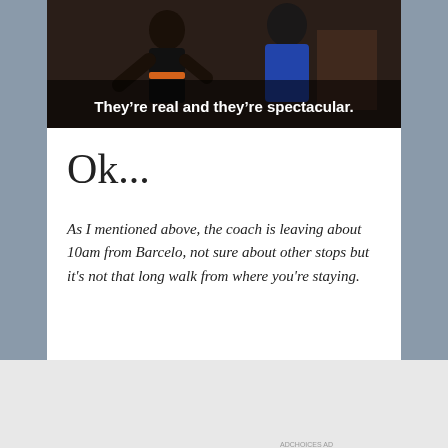[Figure (screenshot): TV screenshot showing people with text caption 'They're real and they're spectacular.']
Ok...
As I mentioned above, the coach is leaving about 10am from Barcelo, not sure about other stops but it's not that long walk from where you're staying.
Again on the Mr. Belvedere screenshots!
And finally...
[Figure (screenshot): Jetpack advertisement banner with 'Back up your site' button]